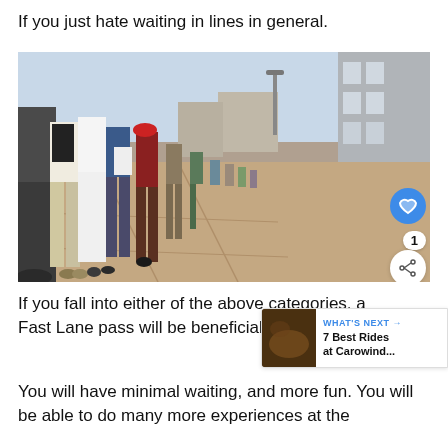If you just hate waiting in lines in general.
[Figure (photo): A long queue of people waiting on a sidewalk next to a hedge and a building, viewed from ground level showing legs and feet of the crowd stretching into the distance.]
If you fall into either of the above categories, a Fast Lane pass will be beneficial for you.
You will have minimal waiting, and more fun. You will be able to do many more experiences at the